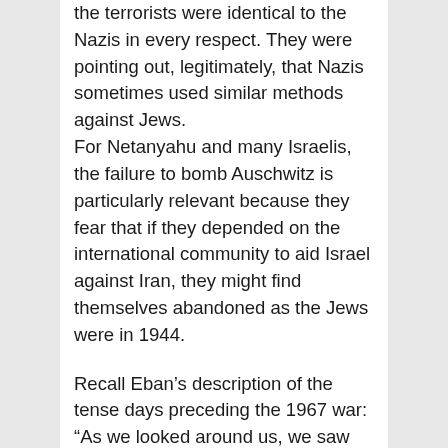the terrorists were identical to the Nazis in every respect. They were pointing out, legitimately, that Nazis sometimes used similar methods against Jews. For Netanyahu and many Israelis, the failure to bomb Auschwitz is particularly relevant because they fear that if they depended on the international community to aid Israel against Iran, they might find themselves abandoned as the Jews were in 1944.
Recall Eban’s description of the tense days preceding the 1967 war: “As we looked around us, we saw the world divided between those who were seeking our destruction and those who would do nothing to prevent it.” Those words bring to mind Chaim